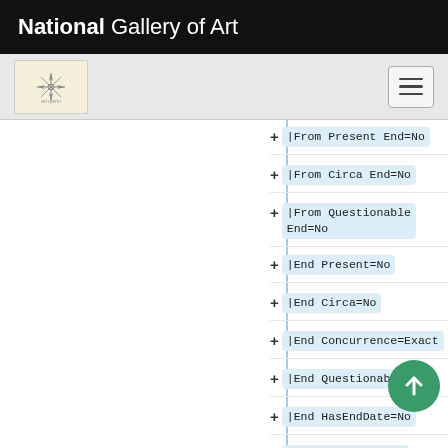National Gallery of Art
[Figure (logo): National Gallery of Art navigation bar with logo and hamburger menu]
|From Present End=No
|From Circa End=No
|From Questionable End=No
|End Present=No
|End Circa=No
|End Concurrence=Exact
|End Questionable=No
|End HasEndDate=No
|End Present End=
|End Circa End=No